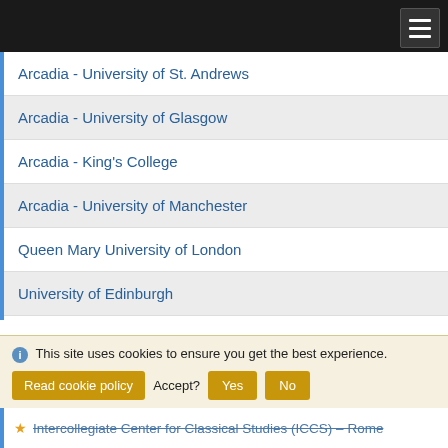Arcadia - University of St. Andrews
Arcadia - University of Glasgow
Arcadia - King's College
Arcadia - University of Manchester
Queen Mary University of London
University of Edinburgh
University of Glasgow
University of Limerick
University of Manchester
University of St. Andrews
This site uses cookies to ensure you get the best experience.
Read cookie policy  Accept?  Yes  No
Intercollegiate Center for Classical Studies (ICCS) – Rome